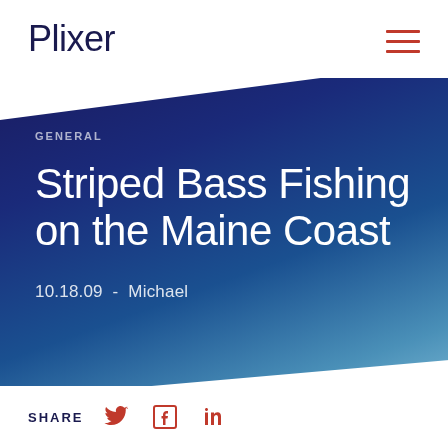Plixer
GENERAL
Striped Bass Fishing on the Maine Coast
10.18.09 - Michael
SHARE